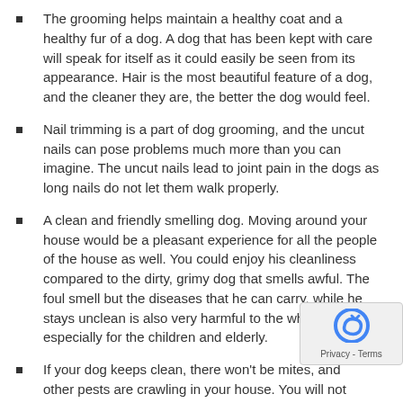The grooming helps maintain a healthy coat and a healthy fur of a dog. A dog that has been kept with care will speak for itself as it could easily be seen from its appearance. Hair is the most beautiful feature of a dog, and the cleaner they are, the better the dog would feel.
Nail trimming is a part of dog grooming, and the uncut nails can pose problems much more than you can imagine. The uncut nails lead to joint pain in the dogs as long nails do not let them walk properly.
A clean and friendly smelling dog. Moving around your house would be a pleasant experience for all the people of the house as well. You could enjoy his cleanliness compared to the dirty, grimy dog that smells awful. The foul smell but the diseases that he can carry, while he stays unclean is also very harmful to the whole family, especially for the children and elderly.
If your dog keeps clean, there won't be mites, and other pests are crawling in your house. You will not